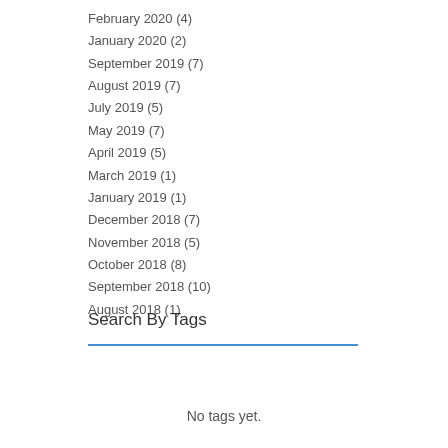February 2020 (4)
January 2020 (2)
September 2019 (7)
August 2019 (7)
July 2019 (5)
May 2019 (7)
April 2019 (5)
March 2019 (1)
January 2019 (1)
December 2018 (7)
November 2018 (5)
October 2018 (8)
September 2018 (10)
August 2018 (1)
Search By Tags
No tags yet.